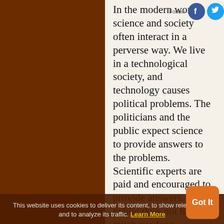In the modern world, science and society often interact in a perverse way. We live in a technological society, and technology causes political problems. The politicians and the public expect science to provide answers to the problems. Scientific experts are paid and encouraged to provide answers. The public does not have much use for a scientist who says, 'Sorry, but we don't know.' The public prefers to listen to scientists who give
This website uses cookies to deliver its content, to show relevant ads and to analyze its traffic. Learn More